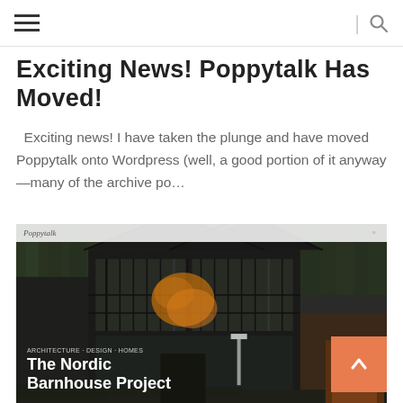≡ | 🔍
Exciting News! Poppytalk Has Moved!
Exciting news! I have taken the plunge and have moved Poppytalk onto Wordpress (well, a good portion of it anyway —many of the archive po…
[Figure (screenshot): Screenshot of Poppytalk website showing The Nordic Barnhouse Project with a dark barnhouse building with glass facade surrounded by pine trees. An orange scroll-to-top button is visible in the bottom right corner.]